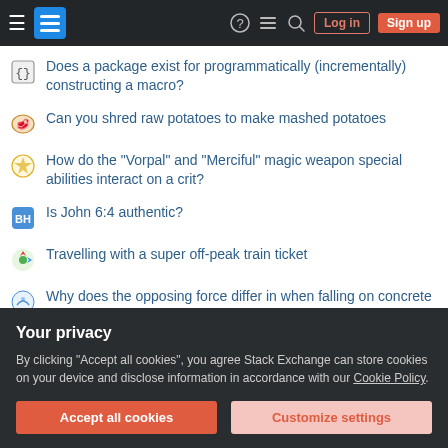[Figure (screenshot): Stack Exchange navigation bar with hamburger menu, logo, icons (help, chat, search), Log in and Sign up buttons on dark background]
Does a package exist for programmatically (incrementally) constructing a macro?
Can you shred raw potatoes to make mashed potatoes
How do the "Vorpal" and "Merciful" magic weapon special abilities interact on a crit?
Is John 6:4 authentic?
Travelling with a super off-peak train ticket
Why does the opposing force differ in when falling on concrete vs on water in spite of Newton's third law?
Extending primes forever
Manager is mad that I can no longer work on weekends for family
Your privacy
By clicking "Accept all cookies", you agree Stack Exchange can store cookies on your device and disclose information in accordance with our Cookie Policy.
Can I apply for tourist visa while living in a different country as an expat?